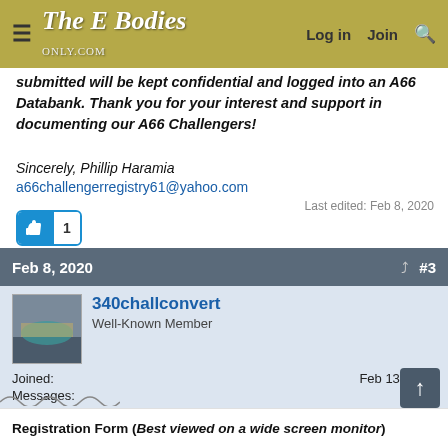The E Bodies Only Forum — Log in | Join
submitted will be kept confidential and logged into an A66 Databank. Thank you for your interest and support in documenting our A66 Challengers!
Sincerely, Phillip Haramia
a66challengerregistry61@yahoo.com
Last edited: Feb 8, 2020
1 like
Feb 8, 2020  #3
340challconvert
Well-Known Member
Joined: Feb 13, 2011
Messages: 4,716
Reaction score: 2,314
Location: Parsippany, NJ
Registration Form (Best viewed on a wide screen monitor)